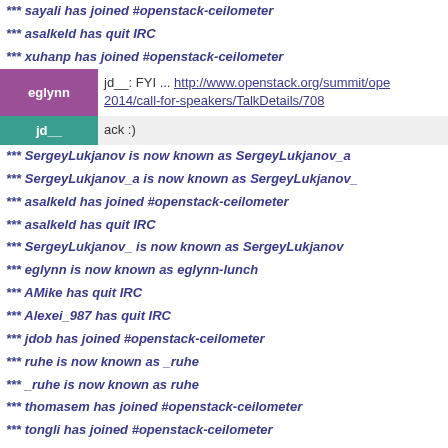*** sayali has joined #openstack-ceilometer
*** asalkeld has quit IRC
*** xuhanp has joined #openstack-ceilometer
eglynn: jd__: FYI ... http://www.openstack.org/summit/ope 2014/call-for-speakers/TalkDetails/708
jd__: ack :)
*** SergeyLukjanov is now known as SergeyLukjanov_a
*** SergeyLukjanov_a is now known as SergeyLukjanov_
*** asalkeld has joined #openstack-ceilometer
*** asalkeld has quit IRC
*** SergeyLukjanov_ is now known as SergeyLukjanov
*** eglynn is now known as eglynn-lunch
*** AMike has quit IRC
*** Alexei_987 has quit IRC
*** jdob has joined #openstack-ceilometer
*** ruhe is now known as _ruhe
*** _ruhe is now known as ruhe
*** thomasem has joined #openstack-ceilometer
*** tongli has joined #openstack-ceilometer
*** flwang has quit IRC
*** jdob_ has joined #openstack-ceilometer
*** sayali has quit IRC
*** yassine has quit IRC